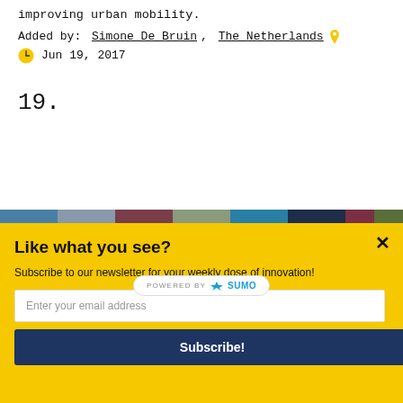improving urban mobility.
Added by: Simone De Bruin, The Netherlands
Jun 19, 2017
19.
[Figure (illustration): Colorful vertical stripe banner with text 'The Future of Cities' overlaid in white, partially obscured by a POWERED BY SUMO badge.]
Like what you see?
Subscribe to our newsletter for your weekly dose of innovation!
Enter your email address
Subscribe!